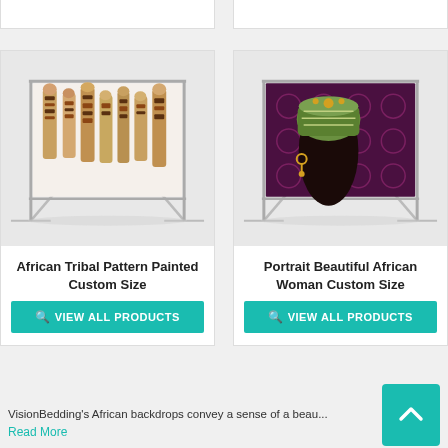[Figure (photo): African Tribal Pattern Painted Custom Size backdrop displayed on a metal stand with tribal painted sticks/figures on white background]
African Tribal Pattern Painted Custom Size
VIEW ALL PRODUCTS
[Figure (photo): Portrait Beautiful African Woman Custom Size backdrop displayed on a metal stand showing a woman with colorful headwrap on dark purple patterned background]
Portrait Beautiful African Woman Custom Size
VIEW ALL PRODUCTS
VisionBedding's African backdrops convey a sense of a beau...
Read More